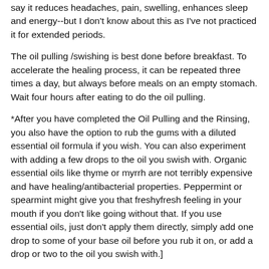say it reduces headaches, pain, swelling, enhances sleep and energy--but I don't know about this as I've not practiced it for extended periods.
The oil pulling /swishing is best done before breakfast. To accelerate the healing process, it can be repeated three times a day, but always before meals on an empty stomach. Wait four hours after eating to do the oil pulling.
*After you have completed the Oil Pulling and the Rinsing, you also have the option to rub the gums with a diluted essential oil formula if you wish. You can also experiment with adding a few drops to the oil you swish with. Organic essential oils like thyme or myrrh are not terribly expensive and have healing/antibacterial properties. Peppermint or spearmint might give you that freshyfresh feeling in your mouth if you don't like going without that. If you use essential oils, just don't apply them directly, simply add one drop to some of your base oil before you rub it on, or add a drop or two to the oil you swish with.]